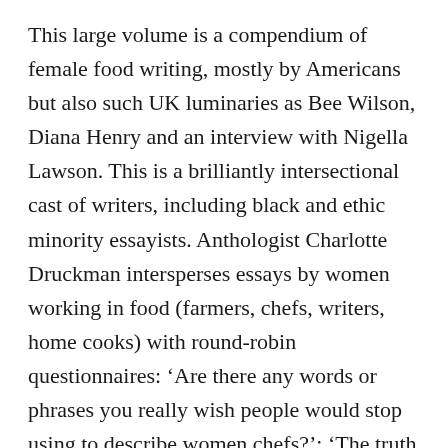This large volume is a compendium of female food writing, mostly by Americans but also such UK luminaries as Bee Wilson, Diana Henry and an interview with Nigella Lawson. This is a brilliantly intersectional cast of writers, including black and ethic minority essayists. Anthologist Charlotte Druckman intersperses essays by women working in food (farmers, chefs, writers, home cooks) with round-robin questionnaires: ‘Are there any words or phrases you really wish people would stop using to describe women chefs?’; ‘The truth about my mother(’s cooking)’; ‘Have you experienced a failing up or a failing down?’ and ‘What are some misconceptions about women who do your job?’. These are all great